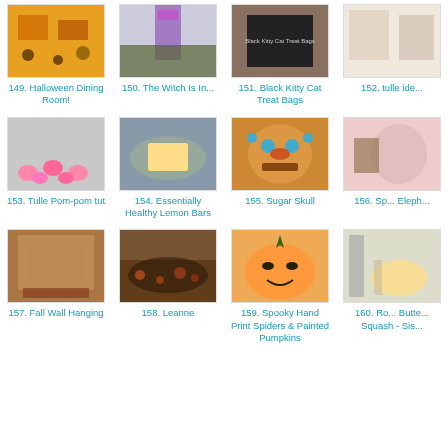[Figure (photo): Halloween dining room decoration with orange and dark colors]
149. Halloween Dining Room!
[Figure (photo): The Witch Is In sign with purple and green decor]
150. The Witch Is In...
[Figure (photo): Black Kitty Cat Treat Bags]
151. Black Kitty Cat Treat Bags
[Figure (photo): Tulle idea craft project]
152. tulle ide...
[Figure (photo): Pink tulle pom-poms on grey background]
153. Tulle Pom-pom tut
[Figure (photo): Lemon bar on a plate - healthy baking]
154. Essentially Healthy Lemon Bars
[Figure (photo): Colorful sugar skull artwork]
155. Sugar Skull
[Figure (photo): Elephant craft or sewing project]
156. Sp... Eleph...
[Figure (photo): Fall wall hanging with colorful autumn motifs]
157. Fall Wall Hanging
[Figure (photo): Dark floral fabric on wooden floor]
158. Leanne
[Figure (photo): Painted pumpkin with spooky jack-o-lantern face]
159. Spooky Hand Print Spiders & Painted Pumpkins
[Figure (photo): Butternut squash recipe on plate with fork]
160. Ro... Butte... Squash - Sis...